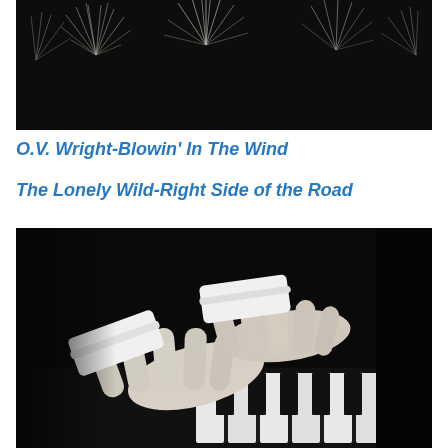[Figure (photo): Black and white photograph of pine tree branches/needles against a dark background, viewed from below]
O.V. Wright-Blowin' In The Wind
The Lonely Wild-Right Side of the Road
[Figure (photo): Black and white photograph of hands playing piano keys, showing two hands pressing down on white and black piano keys]